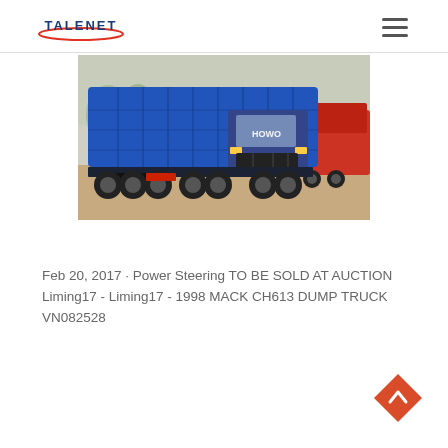TALENET
[Figure (photo): Blue HOWO dump truck parked in a yard with other trucks visible in the background. The truck has a large blue tipper body and multiple rear axles.]
Feb 20, 2017 · Power Steering TO BE SOLD AT AUCTION Liming17 - Liming17 - 1998 MACK CH613 DUMP TRUCK VN082528